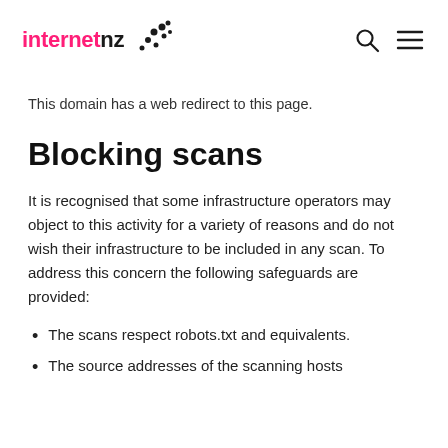internetnz [logo with dots] [search icon] [menu icon]
This domain has a web redirect to this page.
Blocking scans
It is recognised that some infrastructure operators may object to this activity for a variety of reasons and do not wish their infrastructure to be included in any scan. To address this concern the following safeguards are provided:
The scans respect robots.txt and equivalents.
The source addresses of the scanning hosts